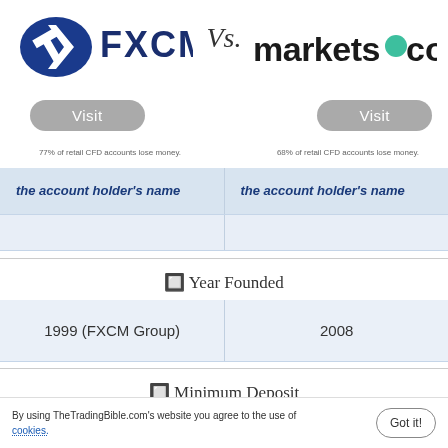[Figure (logo): FXCM logo with blue arrow/shield icon and bold FXCM text]
Vs.
[Figure (logo): markets.com logo with green dot in 'o']
Visit
Visit
77% of retail CFD accounts lose money.
68% of retail CFD accounts lose money.
| the account holder's name | the account holder's name |
| --- | --- |
| 1999 (FXCM Group) | 2008 |
🔲 Year Founded
🔲 Minimum Deposit
By using TheTradingBible.com's website you agree to the use of cookies.
Got it!